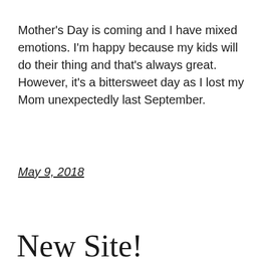Mother's Day is coming and I have mixed emotions. I'm happy because my kids will do their thing and that's always great. However, it's a bittersweet day as I lost my Mom unexpectedly last September.
May 9, 2018
New Site!